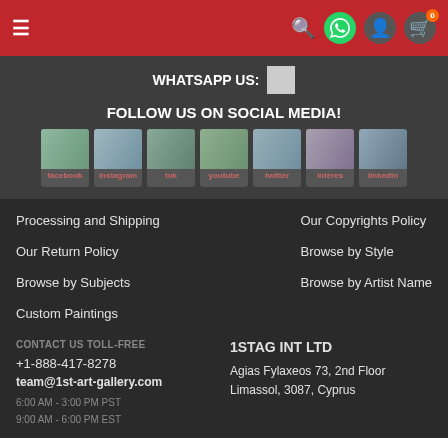Navigation bar with hamburger menu, search, WhatsApp, user, and cart icons
WHATSAPP US:
FOLLOW US ON SOCIAL MEDIA!
[Figure (illustration): Social media icons: facebook, instagram, tiktok, youtube, twitter/X, pinterest, linkedin]
Processing and Shipping
Our Return Policy
Browse by Subjects
Custom Paintings
Our Copyrights Policy
Browse by Style
Browse by Artist Name
CONTACT US TOLL-FREE
+1-888-417-8278
team@1st-art-gallery.com
6:00 AM - 3:00 PM PST
9:00 AM - 6:00 PM EST
1STAG INT LTD
Agias Fylaxeos 73, 2nd Floor
Limassol, 3087, Cyprus